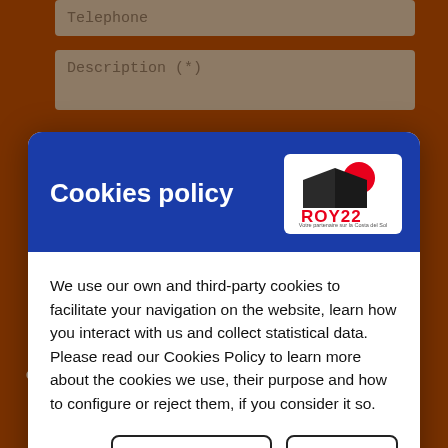Telephone
Description (*)
Cookies policy
[Figure (logo): ROY22 real estate logo with red circle/house graphic and tagline 'Votre partenaire sur la Costa del Sol']
We use our own and third-party cookies to facilitate your navigation on the website, learn how you interact with us and collect statistical data. Please read our Cookies Policy to learn more about the cookies we use, their purpose and how to configure or reject them, if you consider it so.
Manage Cookies
Accept all
QUESTION?
Diseñado por CRM Inmovilla